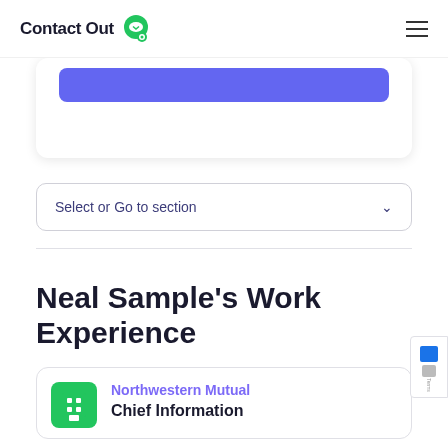ContactOut
[Figure (screenshot): Partially visible blue button inside a white card with shadow]
Select or Go to section
Neal Sample's Work Experience
Northwestern Mutual
Chief Information